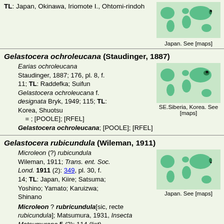TL: Japan, Okinawa, Iriomote I., Ohtomi-rindoh
[Figure (map): World map showing Japan highlighted in teal/green]
Japan. See [maps]
Gelastocera ochroleucana (Staudinger, 1887)
Earias ochroleucana Staudinger, 1887; 176, pl. 8, f. 11; TL: Raddefka; Suifun Gelastocera ochroleucana f. designata Bryk, 1949; 115; TL: Korea, Shuotsu = ; [POOLE]; [RFEL] Gelastocera ochroleucana; [POOLE]; [RFEL]
[Figure (map): World map showing SE Siberia and Korea highlighted]
SE.Siberia, Korea. See [maps]
Gelastocera rubicundula (Wileman, 1911)
Microleon (?) rubicundula Wileman, 1911; Trans. ent. Soc. Lond. 1911 (2): 349, pl. 30, f. 14; TL: Japan, Kiire; Satsuma; Yoshino; Yamato; Karuizwa; Shinano
[Figure (map): World map showing Japan highlighted]
Japan. See [maps]
Microleon ? rubricundula[sic, recte rubicundula]; Matsumura, 1931, Insecta Matsumurana 5 (3): 114 (list)
Microleon rubicundula; Hering, 1933, Gross-Schmett. Erde 2 (Suppl.): 201, pl. 15 g; [NHM card]
Gelastocera rubicundula; [POOLE]